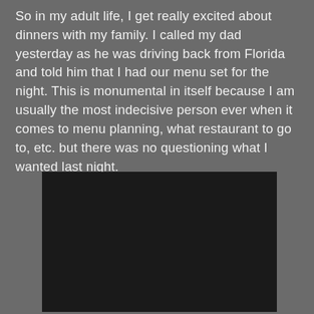So in my adult life, I get really excited about dinners with my family. I called my dad yesterday as he was driving back from Florida and told him that I had our menu set for the night. This is monumental in itself because I am usually the most indecisive person ever when it comes to menu planning, what restaurant to go to, etc. but there was no questioning what I wanted last night.
[Figure (screenshot): A video player showing an error message: 'The video cannot be played in this browser. (Error Code: 242632)' with a play button icon visible on a black background.]